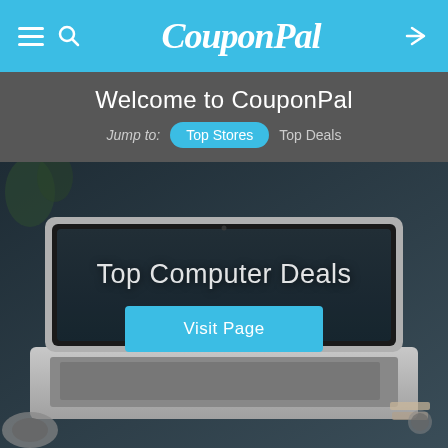CouponPal — navigation bar with hamburger menu, search icon, logo, and share icon
Welcome to CouponPal
Jump to: Top Stores  Top Deals
[Figure (photo): Photo of a laptop on a desk with headphones, showing a dark screen. Overlaid text reads 'Top Computer Deals' with a 'Visit Page' button below it.]